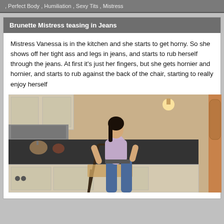, Perfect Body , Humiliation , Sexy Tits , Mistress
Brunette Mistress teasing in Jeans
Mistress Vanessa is in the kitchen and she starts to get horny. So she shows off her tight ass and legs in jeans, and starts to rub herself through the jeans. At first it's just her fingers, but she gets hornier and hornier, and starts to rub against the back of the chair, starting to really enjoy herself
[Figure (photo): Woman in jeans in a kitchen leaning back against a chair]